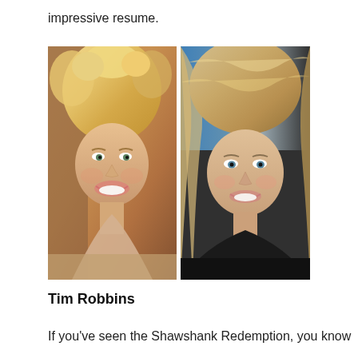impressive resume.
[Figure (photo): Two side-by-side photos showing a woman at two different ages — left: younger with curly blonde hair and a big smile; right: older with wavy blonde hair and a composed smile.]
Tim Robbins
If you've seen the Shawshank Redemption, you know